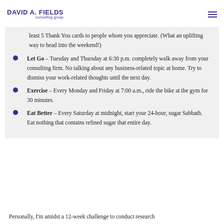DAVID A. FIELDS consulting group
least 5 Thank You cards to people whom you appreciate. (What an uplifting way to head into the weekend!)
Let Go – Tuesday and Thursday at 6:30 p.m. completely walk away from your consulting firm. No talking about any business-related topic at home. Try to dismiss your work-related thoughts until the next day.
Exercise – Every Monday and Friday at 7:00 a.m., ride the bike at the gym for 30 minutes.
Eat Better – Every Saturday at midnight, start your 24-hour, sugar Sabbath. Eat nothing that contains refined sugar that entire day.
Personally, I'm amidst a 12-week challenge to conduct research